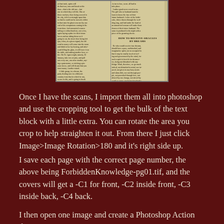[Figure (photo): Scanned newspaper page showing two columns of old-fashioned text. Right column has a section heading 'HOW TO RECEIVE ORACLES BY DREAMS'. The paper is yellowed/aged with small serif text throughout.]
Once I have the scans, I import them all into photoshop and use the cropping tool to get the bulk of the text block with a little extra. You can rotate the area you crop to help straighten it out. From there I just click Image>Image Rotation>180 and it's right side up.
I save each page with the correct page number, the above being ForbiddenKnowledge-pg01.tif, and the covers will get a -C1 for front, -C2 inside front, -C3 inside back, -C4 back.
I then open one image and create a Photoshop Action that